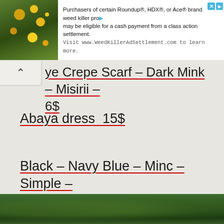[Figure (screenshot): Advertisement banner with a photo of yellow flowers on green foliage on the left and ad text on the right. Text reads: 'Purchasers of certain Roundup®, HDX®, or Ace® brand weed killer products may be eligible for a cash payment from a class action settlement. Visit www.WeedKillerAdSettlement.com to learn more.']
ye Crepe Scarf – Dark Mink – Misirii – 6$
Abaya dress  15$
Black – Navy Blue – Minc – Simple – Viscose – Bonnet 6.8$
Steve Madden Jessy Slide Flat Sandal – $48.97
[Figure (photo): Partial bottom image showing green foliage/plants]